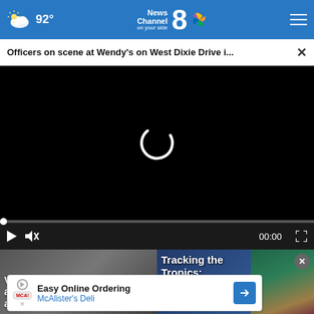92° News Channel 8 on your side
Officers on scene at Wendy's on West Dixie Drive i...
[Figure (screenshot): Video player with black screen and loading spinner showing 00:00 timestamp, play button, mute button, and fullscreen button]
[Figure (screenshot): Thumbnail: Video shows alleged child abuse story]
[Figure (screenshot): Thumbnail: Tracking the Tropics weather story]
Easy Online Ordering
McAlister's Deli